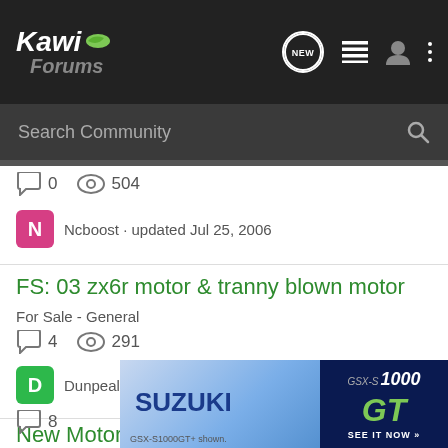[Figure (logo): KawiForums logo with navigation icons: NEW chat bubble, list icon, user icon, dots menu]
[Figure (screenshot): Search Community search bar]
0   504
Ncboost · updated Jul 25, 2006
FS: 03 zx6r motor & tranny blown motor
For Sale - General
4   291
Dunpeal · updated Mar 30, 2007
New Motor or New Transmission?
2003-20...
8
[Figure (photo): Suzuki GSX-S1000GT advertisement banner]